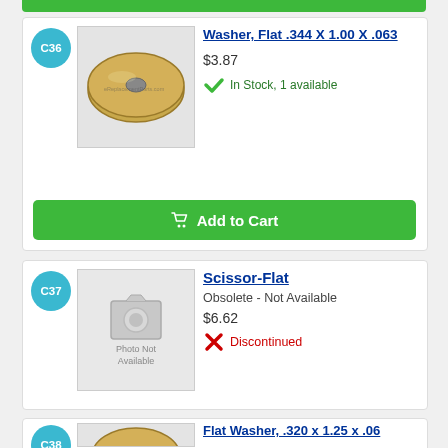[Figure (photo): Green Add to Cart button (top, partially cropped)]
C36
[Figure (photo): Photo of a flat gold/brass washer - Washer, Flat .344 X 1.00 X .063]
Washer, Flat .344 X 1.00 X .063
$3.87
In Stock, 1 available
Add to Cart
C37
[Figure (photo): Photo Not Available placeholder image for Scissor-Flat]
Scissor-Flat
Obsolete - Not Available
$6.62
Discontinued
C38
[Figure (photo): Partial photo of a flat gold/brass washer - Flat Washer, .320 x 1.25 x .06]
Flat Washer, .320 x 1.25 x .06
$3.84